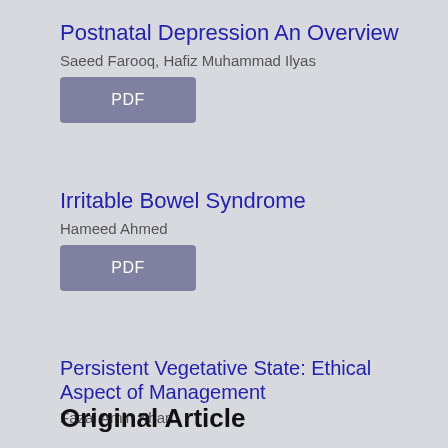Postnatal Depression An Overview
Saeed Farooq, Hafiz Muhammad Ilyas
PDF
Irritable Bowel Syndrome
Hameed Ahmed
PDF
Persistent Vegetative State: Ethical Aspect of Management
Fazal Amin Khan
PDF
Original Article